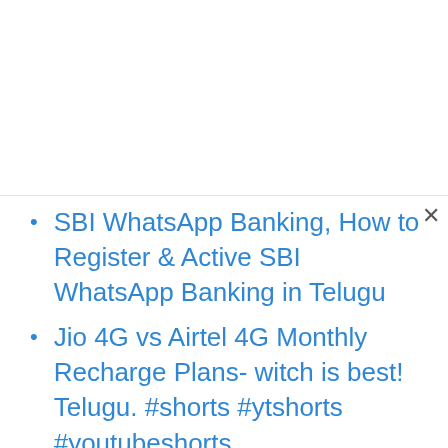SBI WhatsApp Banking, How to Register & Active SBI WhatsApp Banking in Telugu
Jio 4G vs Airtel 4G Monthly Recharge Plans- witch is best! Telugu. #shorts #ytshorts #youtubeshorts
Instagram Latest Update Live Location issue - Fix it #shorts